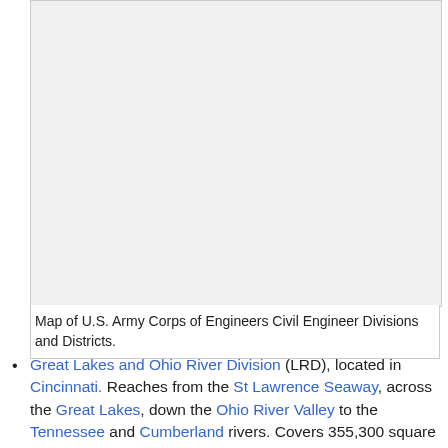[Figure (map): Map of U.S. Army Corps of Engineers Civil Engineer Divisions and Districts (image area, shown as placeholder)]
Map of U.S. Army Corps of Engineers Civil Engineer Divisions and Districts.
Great Lakes and Ohio River Division (LRD), located in Cincinnati. Reaches from the St Lawrence Seaway, across the Great Lakes, down the Ohio River Valley to the Tennessee and Cumberland rivers. Covers 355,300 square miles (920,000 km²), parts of 17 states. Serves 56 million people. Its seven districts are located in Buffalo, Chicago, Detroit, Louisville, Nashville, Pittsburgh, and Huntington, West Virginia. The division commander serves on two national and international decision-making bodies: co-chair of the Lake Superior, Niagara, and Ontario/St Lawrence Seaway boards of control; and the Mississippi River Commission.
Mississippi Valley Division (MVD), located in Vicksburg,